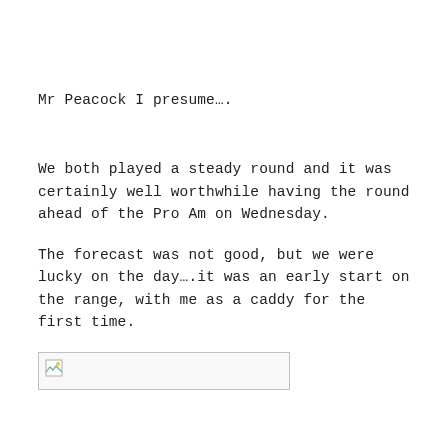Mr Peacock I presume….
We both played a steady round and it was certainly well worthwhile having the round ahead of the Pro Am on Wednesday.
The forecast was not good, but we were lucky on the day….it was an early start on the range, with me as a caddy for the first time.
[Figure (photo): Broken image placeholder — a small image icon with a rectangular border]